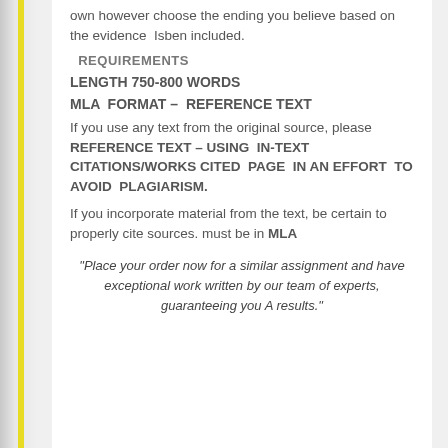own however choose the ending you believe based on the evidence  Isben included.
REQUIREMENTS
LENGTH 750-800 WORDS
MLA  FORMAT –  REFERENCE TEXT
If you use any text from the original source, please  REFERENCE TEXT – USING  IN-TEXT CITATIONS/WORKS CITED  PAGE  IN AN EFFORT  TO AVOID  PLAGIARISM.
If you incorporate material from the text, be certain to  properly cite sources. must be in MLA
"Place your order now for a similar assignment and have exceptional work written by our team of experts, guaranteeing you A results."